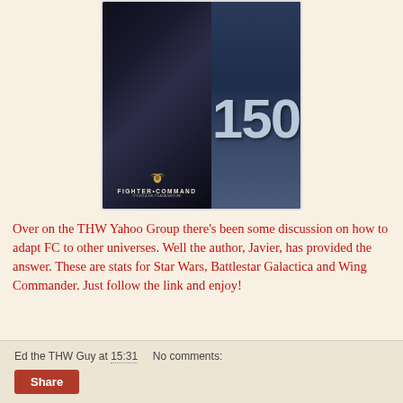[Figure (photo): Book cover for Fighter Command showing a dark figure and the number 150, with eagle logo and text FIGHTER COMMAND - IT'S NOT A JOB, IT'S AN ADVENTURE]
Over on the THW Yahoo Group there's been some discussion on how to adapt FC to other universes. Well the author, Javier, has provided the answer. These are stats for Star Wars, Battlestar Galactica and Wing Commander. Just follow the link and enjoy!
Ed the THW Guy at 15:31    No comments:
Share